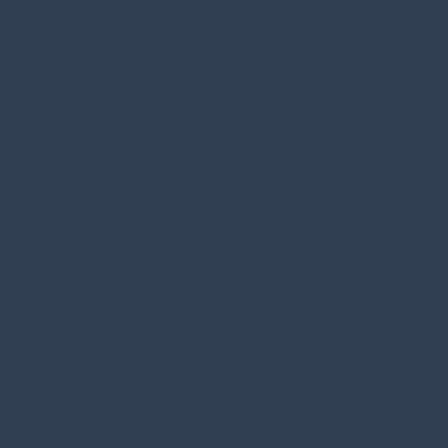[Figure (other): Dark blue/slate sidebar panel on the left side of the page]
</Zone>
<Zone>
    <Shi...
    <Car...


        <Dimension...


            <Car...


        <Dimension...

            </Ca...
        </Zone>
</Shipping>
Using the above <S... assigned to a coun... shipping address s... given zone, all carr... their respective fe...